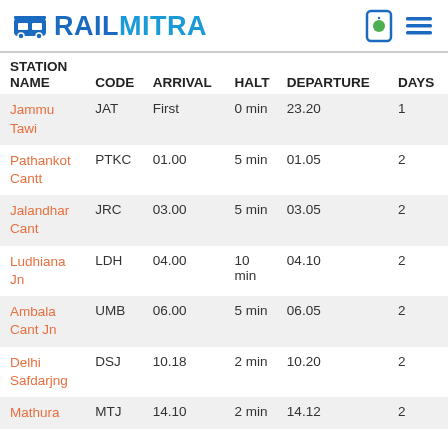RAILMITRA
| STATION NAME | CODE | ARRIVAL | HALT | DEPARTURE | DAYS |
| --- | --- | --- | --- | --- | --- |
| Jammu Tawi | JAT | First | 0 min | 23.20 | 1 |
| Pathankot Cantt | PTKC | 01.00 | 5 min | 01.05 | 2 |
| Jalandhar Cant | JRC | 03.00 | 5 min | 03.05 | 2 |
| Ludhiana Jn | LDH | 04.00 | 10 min | 04.10 | 2 |
| Ambala Cant Jn | UMB | 06.00 | 5 min | 06.05 | 2 |
| Delhi Safdarjng | DSJ | 10.18 | 2 min | 10.20 | 2 |
| Mathura | MTJ | 14.10 | 2 min | 14.12 | 2 |